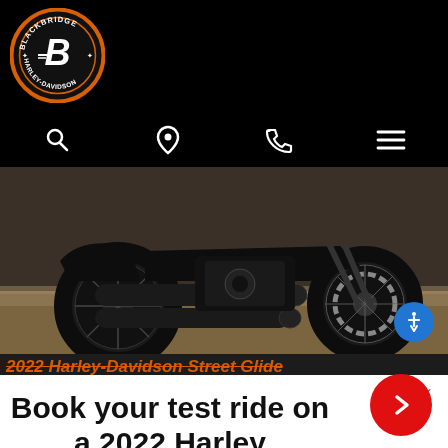[Figure (logo): Blackbridge Harley-Davidson circular logo with orange border and stylized B emblem on black background]
[Figure (screenshot): Website navigation bar with search, location pin, phone, and hamburger menu icons on black background]
[Figure (photo): Close-up photo of a black Harley-Davidson motorcycle lower body, exhaust pipes, engine, and front wheel on dealer showroom floor]
2022 Harley-Davidson Street Glide
Book your test ride on a 2022 Harley Davidson today!